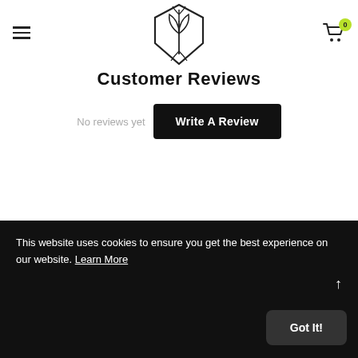Navigation header with hamburger menu, logo, and cart icon (0 items)
Customer Reviews
No reviews yet
Write A Review
This website uses cookies to ensure you get the best experience on our website. Learn More
Got It!